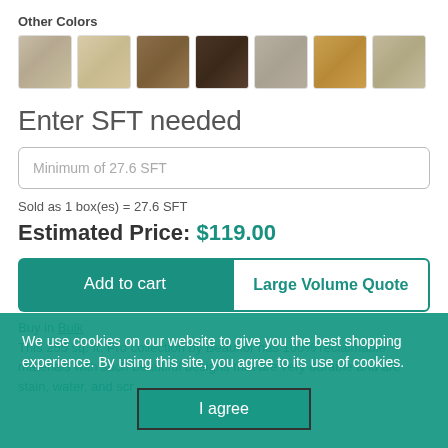Other Colors
[Figure (other): Seven wood flooring color swatches in a horizontal row: light gray-beige, light tan, medium brown, dark espresso, light gray, golden oak, and light driftwood]
Enter SFT needed
Minimum of 27.6 SFT
Sold as 1 box(es) = 27.6 SFT
Estimated Price: $119.00
Add to cart
Large Volume Quote
We use cookies on our website to give you the best shopping experience. By using this site, you agree to its use of cookies.
I agree